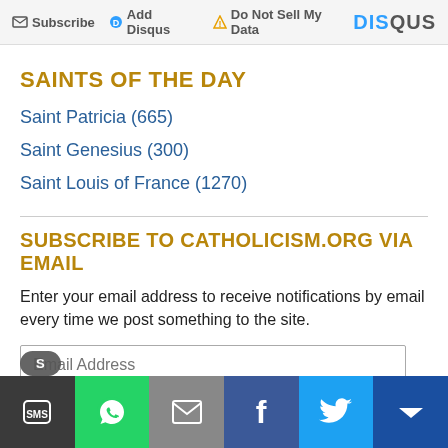Subscribe  Add Disqus  Do Not Sell My Data  DISQUS
SAINTS OF THE DAY
Saint Patricia (665)
Saint Genesius (300)
Saint Louis of France (1270)
SUBSCRIBE TO CATHOLICISM.ORG VIA EMAIL
Enter your email address to receive notifications by email every time we post something to the site.
Email Address